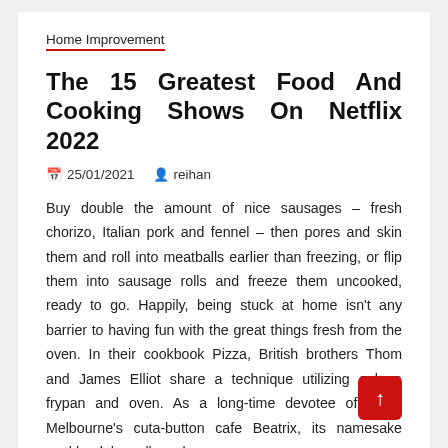Home Improvement
The 15 Greatest Food And Cooking Shows On Netflix 2022
📅 25/01/2021   👤 reihan
Buy double the amount of nice sausages – fresh chorizo, Italian pork and fennel – then pores and skin them and roll into meatballs earlier than freezing, or flip them into sausage rolls and freeze them uncooked, ready to go. Happily, being stuck at home isn't any barrier to having fun with the great things fresh from the oven. In their cookbook Pizza, British brothers Thom and James Elliot share a technique utilizing only a frypan and oven. As a long-time devotee of North Melbourne's cut-a-button cafe Beatrix, its namesake cookbook has allowed